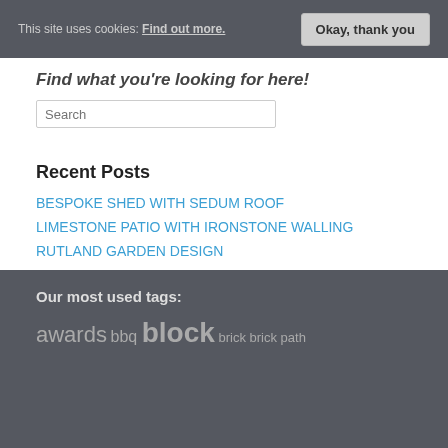This site uses cookies: Find out more.  Okay, thank you
Find what you're looking for here!
Search
Recent Posts
BESPOKE SHED WITH SEDUM ROOF
LIMESTONE PATIO WITH IRONSTONE WALLING
RUTLAND GARDEN DESIGN
BLOCK PATH AND STONE WALL
RECLAIMED BRICK PATH
Tweets by StonetreeLive
Our most used tags:
awards bbq block brick brick path